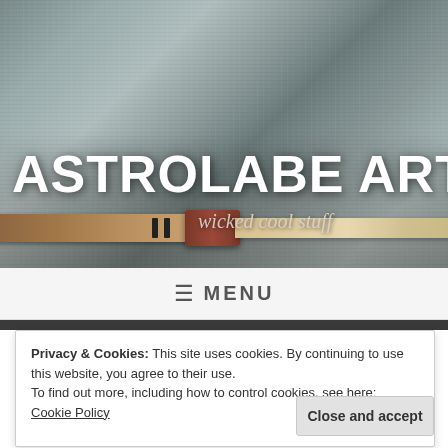[Figure (photo): Hero banner image showing a wooden staff or wand with carved wood sections and a dark wrapped binding, against a textured grey stone/rock background. The staff runs diagonally across the image with a darker carved left section and a pale birch-like right section.]
ASTROLABE ARTS
wicked cool stuff
≡  MENU
Privacy & Cookies: This site uses cookies. By continuing to use this website, you agree to their use.
To find out more, including how to control cookies, see here: Cookie Policy
Close and accept